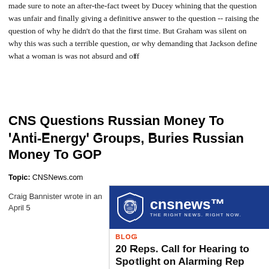made sure to note an after-the-fact tweet by Ducey whining that the question was unfair and finally giving a definitive answer to the question -- raising the question of why he didn't do that the first time. But Graham was silent on why this was such a terrible question, or why demanding that Jackson define what a woman is was not absurd and off
CNS Questions Russian Money To 'Anti-Energy' Groups, Buries Russian Money To GOP
Topic: CNSNews.com
Craig Bannister wrote in an April 5
[Figure (screenshot): Screenshot of CNSNews.com website showing the CNS News logo (bulldog shield with 'cnsnews THE RIGHT NEWS. RIGHT NOW.') on a dark blue header, followed by a BLOG section label in red/orange and an article headline beginning '20 Reps. Call for Hearing to Spotlight on Alarming Rep... Attempts to Fund U.S. Acti...']